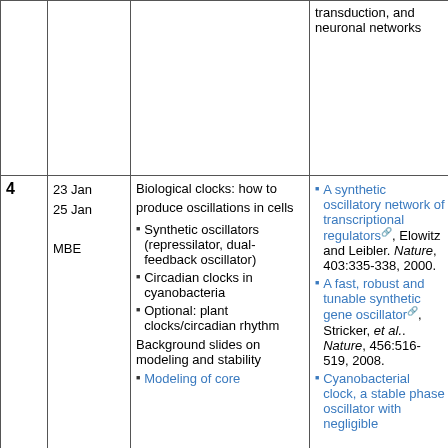| # | Date | Topics | Reading | HW |
| --- | --- | --- | --- | --- |
|  |  |  | transduction, and neuronal networks |  |
| 4 | 23 Jan
25 Jan

MBE | Biological clocks: how to produce oscillations in cells
• Synthetic oscillators (repressilator, dual-feedback oscillator)
• Circadian clocks in cyanobacteria
• Optional: plant clocks/circadian rhythm
Background slides on modeling and stability
• Modeling of core... | • A synthetic oscillatory network of transcriptional regulators, Elowitz and Leibler. Nature, 403:335-338, 2000.
• A fast, robust and tunable synthetic gene oscillator, Stricker, et al.. Nature, 456:516-519, 2008.
• Cyanobacterial clock, a stable phase oscillator with negligible... | HW #3 |